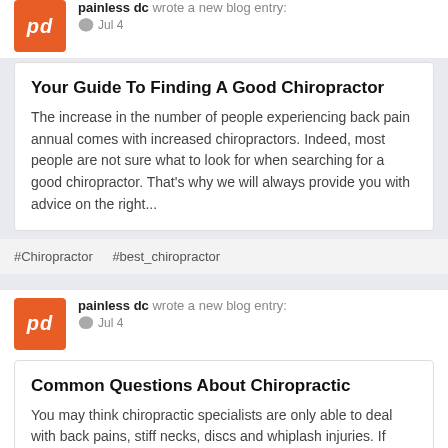painless dc wrote a new blog entry:
Jul 4
Your Guide To Finding A Good Chiropractor
The increase in the number of people experiencing back pain annual comes with increased chiropractors. Indeed, most people are not sure what to look for when searching for a good chiropractor. That's why we will always provide you with advice on the right...
#Chiropractor   #best_chiropractor
painless dc wrote a new blog entry:
Jul 4
Common Questions About Chiropractic
You may think chiropractic specialists are only able to deal with back pains, stiff necks, discs and whiplash injuries. If